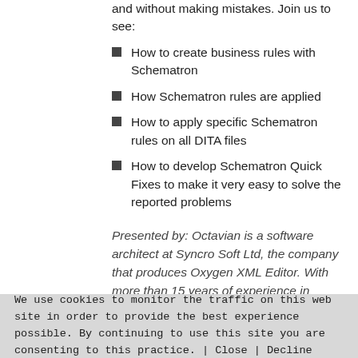and without making mistakes. Join us to see:
How to create business rules with Schematron
How Schematron rules are applied
How to apply specific Schematron rules on all DITA files
How to develop Schematron Quick Fixes to make it very easy to solve the reported problems
Presented by: Octavian is a software architect at Syncro Soft Ltd, the company that produces Oxygen XML Editor. With more than 15 years of experience in working with XML technologies, he contributes to a number of
We use cookies to monitor the traffic on this web site in order to provide the best experience possible. By continuing to use this site you are consenting to this practice. | Close | Decline